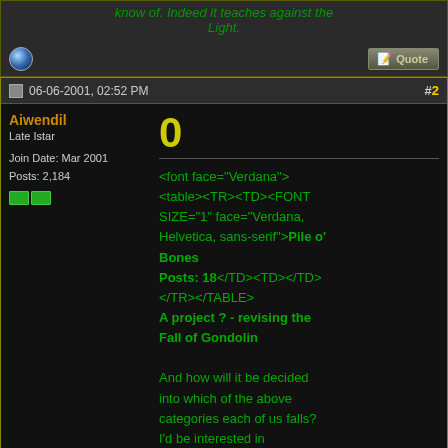know of. Indeed it teaches against the Light.
06-06-2001, 02:52 PM  #2
Aiwendil
Late Istar
Join Date: Mar 2001
Posts: 2,184
0
<font face="Verdana">
<table><TR><TD><FONT SIZE="1" face="Verdana, Helvetica, sans-serif">Pile o' Bones
Posts: 18</TD><TD></TD></TR></TABLE>
A project ? - revising the Fall of Gondolin

And how will it be decided into which of the above categories each of us falls? I'd be interested in contributing somehow - I'd be glad to write a portion of it, if my services are required, and a full vote would be most appreciated.

As for how to integrate UT